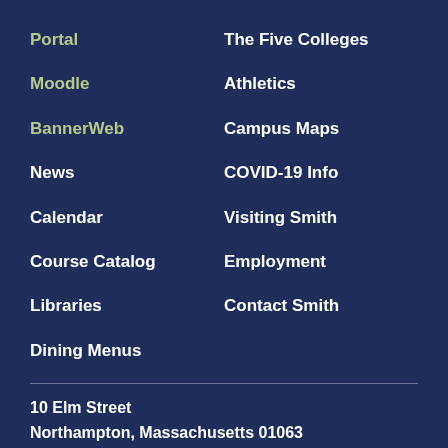Portal
The Five Colleges
Moodle
Athletics
BannerWeb
Campus Maps
News
COVID-19 Info
Calendar
Visiting Smith
Course Catalog
Employment
Libraries
Contact Smith
Dining Menus
10 Elm Street
Northampton, Massachusetts 01063
Phone: 413-584-2700